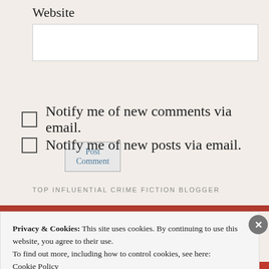Website
Post Comment
☐ Notify me of new comments via email.
☐ Notify me of new posts via email.
TOP INFLUENTIAL CRIME FICTION BLOGGER
Privacy & Cookies: This site uses cookies. By continuing to use this website, you agree to their use.
To find out more, including how to control cookies, see here: Cookie Policy
Close and accept